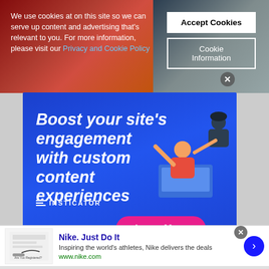We use cookies at on this site so we can serve up content and advertising that's relevant to you. For more information, please visit our Privacy and Cookie Policy
Accept Cookies
Cookie Information
[Figure (illustration): Insticator advertisement banner with blue background showing text 'Boost your site's engagement with custom content experiences' with illustrated characters and a 'Learn More' pink button]
[Figure (infographic): Nike advertisement bar showing 'Nike. Just Do It' with description 'Inspiring the world's athletes, Nike delivers the deals' and URL www.nike.com]